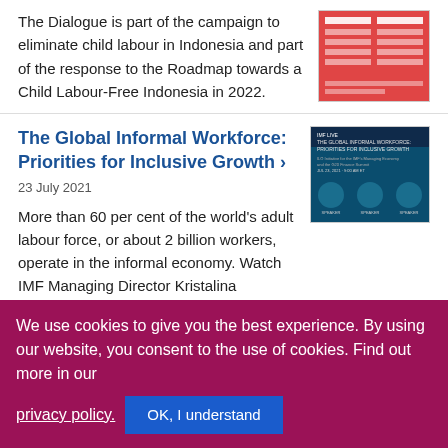The Dialogue is part of the campaign to eliminate child labour in Indonesia and part of the response to the Roadmap towards a Child Labour-Free Indonesia in 2022.
[Figure (screenshot): Red/pink thumbnail image related to child labour campaign in Indonesia]
The Global Informal Workforce: Priorities for Inclusive Growth ›
[Figure (screenshot): Dark teal promotional banner for 'The Global Informal Workforce: Priorities for Inclusive Growth' event with speaker photos, dated July 23, 2021]
23 July 2021
More than 60 per cent of the world's adult labour force, or about 2 billion workers, operate in the informal economy. Watch IMF Managing Director Kristalina Georgieva and ILO Director-General Guy Ryder discuss
We use cookies to give you the best experience. By using our website, you consent to the use of cookies. Find out more in our privacy policy. OK, I understand